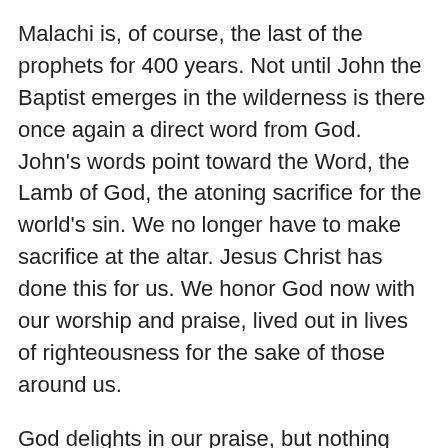Malachi is, of course, the last of the prophets for 400 years. Not until John the Baptist emerges in the wilderness is there once again a direct word from God. John's words point toward the Word, the Lamb of God, the atoning sacrifice for the world's sin. We no longer have to make sacrifice at the altar. Jesus Christ has done this for us. We honor God now with our worship and praise, lived out in lives of righteousness for the sake of those around us.
God delights in our praise, but nothing makes the Father happier than seeing the children of God care for one another. If you want to honor God, take care of your neighbors, near and far.
Be well, friends. You are loved.